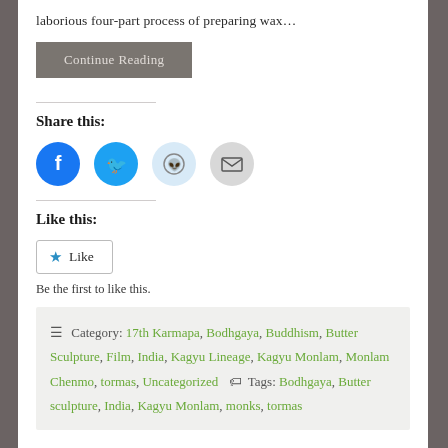laborious four-part process of preparing wax…
Continue Reading
Share this:
[Figure (other): Social share icons: Facebook (blue circle), Twitter (blue circle), Reddit (light blue circle), Email (grey circle)]
Like this:
★ Like
Be the first to like this.
Category: 17th Karmapa, Bodhgaya, Buddhism, Butter Sculpture, Film, India, Kagyu Lineage, Kagyu Monlam, Monlam Chenmo, tormas, Uncategorized   Tags: Bodhgaya, Butter sculpture, India, Kagyu Monlam, monks, tormas